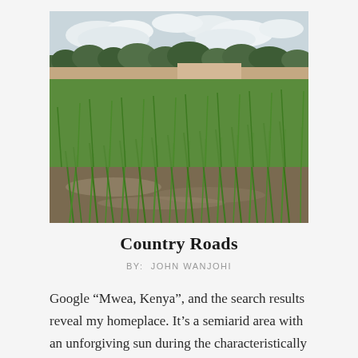[Figure (photo): A rice paddy field with green rice shoots growing in flooded muddy water. Trees visible in the background under a cloudy sky.]
Country Roads
BY:  JOHN WANJOHI
Google “Mwea, Kenya”, and the search results reveal my homeplace. It’s a semiarid area with an unforgiving sun during the characteristically long dry seasons. A few baobabs and cactus